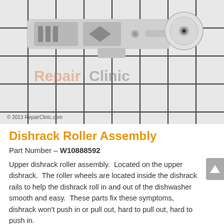[Figure (photo): Close-up photo of a Dishrack Roller Assembly part (part number W10888592) shown against a white grid background. The part is a light gray plastic track with two slots/buttons and an arm with a white roller wheel on the right. A watermark reading 'RepairClinic' appears across the center. Copyright text '© 2013 RepairClinic.com' appears at the bottom left of the photo.]
Dishrack Roller Assembly
Part Number – W10888592
Upper dishrack roller assembly.  Located on the upper dishrack.  The roller wheels are located inside the dishrack rails to help the dishrack roll in and out of the dishwasher smooth and easy.  These parts fix these symptoms, dishrack won't push in or pull out, hard to pull out, hard to push in.